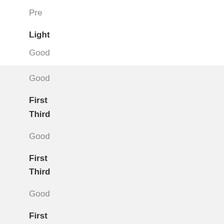Pre
Light
Good
Good
First
Third
Good
First
Third
Good
First
Third